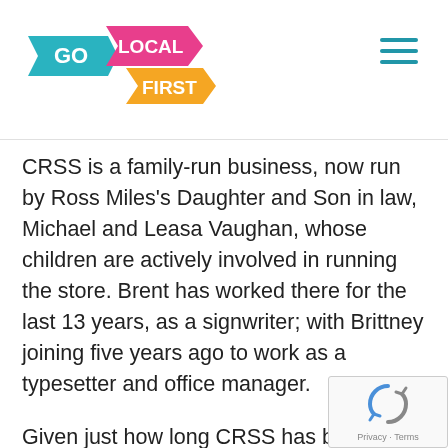Go Local First logo and navigation menu
CRSS is a family-run business, now run by Ross Miles's Daughter and Son in law, Michael and Leasa Vaughan, whose children are actively involved in running the store. Brent has worked there for the last 13 years, as a signwriter; with Brittney joining five years ago to work as a typesetter and office manager.
Given just how long CRSS has been around, it's no surprise the business takes an active interest in supporting their local community, including donating all the local Ronald McDonald House's signs a name badges.